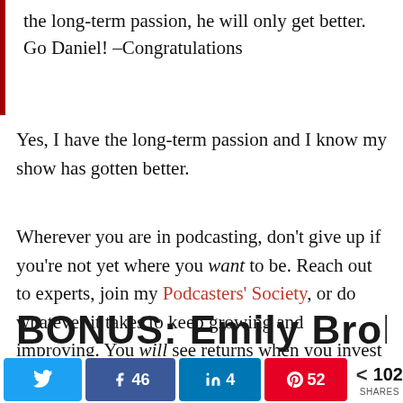the long-term passion, he will only get better. Go Daniel! –Congratulations
Yes, I have the long-term passion and I know my show has gotten better.
Wherever you are in podcasting, don't give up if you're not yet where you want to be. Reach out to experts, join my Podcasters' Society, or do whatever it takes to keep growing and improving. You will see returns when you invest with smart work!
BONUS: Emily Broken's
< 102 SHARES